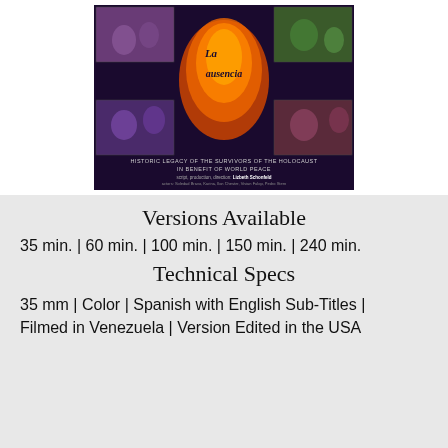[Figure (photo): Movie poster for 'La Ausencia' - Historic Legacy of the Survivors of the Holocaust in Benefit of World Peace. Dark purple background with flame/teardrop shape, film stills around edges. Credits include script/production/direction by Lizbeth Schonfeld, actors Soledad Bravo, Karina, Ilan Chester, Vivian Fulop, Pedro Stern, film directors Rolando Lowenstein, Eitan Steinmetz, presenter Comite Venezolano Yad Vashem. 35mm, color, Spanish-English subtitles.]
Versions Available
35 min. | 60 min. | 100 min. | 150 min. | 240 min.
Technical Specs
35 mm | Color | Spanish with English Sub-Titles | Filmed in Venezuela | Version Edited in the USA